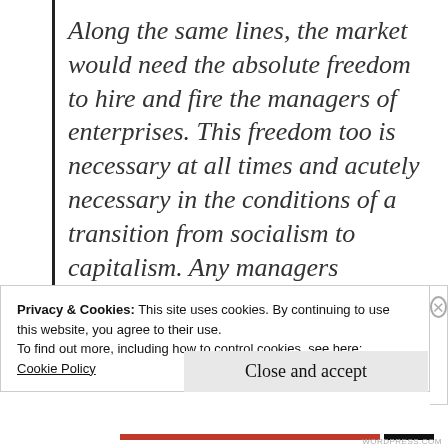Along the same lines, the market would need the absolute freedom to hire and fire the managers of enterprises. This freedom too is necessary at all times and acutely necessary in the conditions of a transition from socialism to capitalism. Any managers inherited from socialism are likely to need replacement. Many of the initial managers under
Privacy & Cookies: This site uses cookies. By continuing to use this website, you agree to their use.
To find out more, including how to control cookies, see here:
Cookie Policy
Close and accept